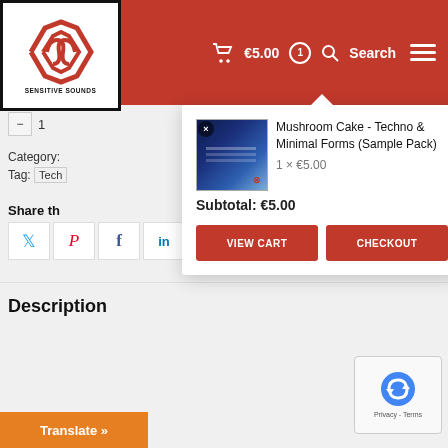[Figure (logo): Sensitive Sounds logo with red diamond/chevron design on white background with black border]
€5.00  1  Search
[Figure (screenshot): Shopping cart dropdown popup showing Mushroom Cake - Techno & Minimal Forms (Sample Pack), 1 x €5.00, Subtotal: €5.00, with VIEW CART and CHECKOUT buttons]
Mushroom Cake - Techno & Minimal Forms (Sample Pack)
1 × €5.00
Subtotal: €5.00
VIEW CART
CHECKOUT
Category:
Tag:  Tech
Share th
Description
Translate »
Privacy - Terms